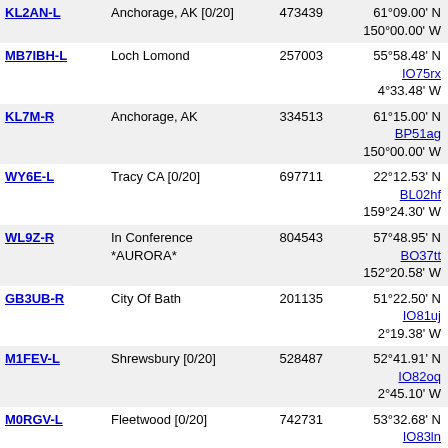| Callsign | Location | ID | Coordinates | Num |
| --- | --- | --- | --- | --- |
| KL2AN-L | Anchorage, AK [0/20] | 473439 | 61°09.00' N 150°00.00' W | 563 |
| MB7IBH-L | Loch Lomond | 257003 | 55°58.48' N 4°33.48' W | 563 |
| KL7M-R | Anchorage, AK | 334513 | 61°15.00' N 150°00.00' W | 563 |
| WY6E-L | Tracy CA [0/20] | 697711 | 22°12.53' N 159°24.30' W | 564 |
| WL9Z-R | In Conference *AURORA* | 804543 | 57°48.95' N 152°20.58' W | 565 |
| GB3UB-R | City Of Bath | 201135 | 51°22.50' N 2°19.38' W | 565 |
| M1FEV-L | Shrewsbury [0/20] | 528487 | 52°41.91' N 2°45.10' W | 565 |
| M0RGV-L | Fleetwood [0/20] | 742731 | 53°32.68' N 3°01.53' W | 565 |
| GB3DT-R | Blandford Camp, Dorset, UK | 364539 | 50°52.23' N 2°07.23' W | 566 |
| MB7ISC-L | FreeSTAR Network [0/20] | 459689 | 56°05.37' N 3°55.57' W | 566 |
| G4UJS-L | Whixall, Shropshire. [0/20] | 648254 | 52°54.07' N 2°43.62' W | 566 |
| 2e0tsi-L (offline) | [offline] | 886970 | 53°45.75' N 3°00.79' W | 566 |
| G0NXR-L | Thonton-Cleveleys,UK [0/3] | 707242 | 53°52.94' N 3°01.38' W | 566 |
| GB3PB-R (offline) | [offline] | 284050 | 50°43.20' N IO90ar | 566 |